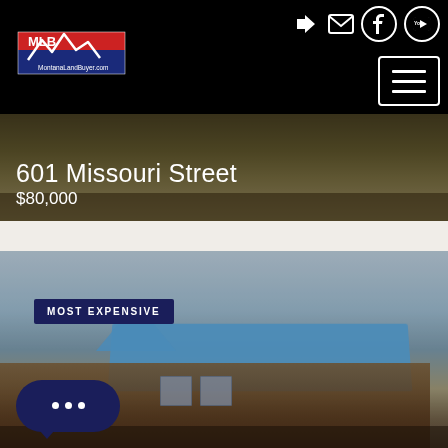[Figure (logo): MontanaLandBuyer.com logo — red Montana state shape with white mountains, MLB text, on black navbar]
[Figure (photo): Property listing photo for 601 Missouri Street — muted grassy/field background]
601 Missouri Street
$80,000
[Figure (photo): Property listing photo showing old wooden house with blue metal roof, bare winter trees, tagged MOST EXPENSIVE]
MOST EXPENSIVE